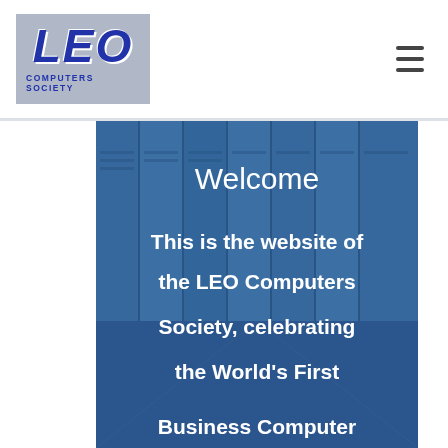[Figure (logo): LEO Computers Society logo: grey/blue background box with large bold italic blue letters LEO and text COMPUTERS SOCIETY below]
[Figure (other): Hamburger menu icon (three horizontal lines)]
[Figure (photo): Hero image of blue computer server panels/cabinets with white text overlay reading: Welcome / This is the website of the LEO Computers Society, celebrating the World's First Business Computer]
Welcome
This is the website of the LEO Computers Society, celebrating the World's First Business Computer